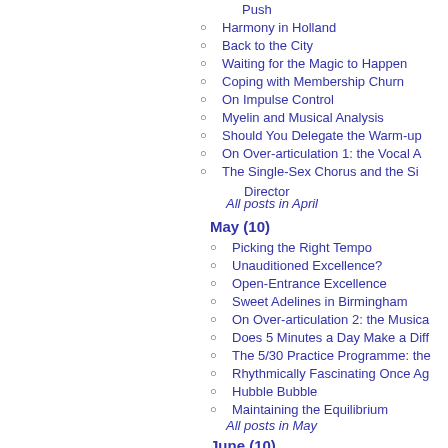Push
Harmony in Holland
Back to the City
Waiting for the Magic to Happen
Coping with Membership Churn
On Impulse Control
Myelin and Musical Analysis
Should You Delegate the Warm-up
On Over-articulation 1: the Vocal A
The Single-Sex Chorus and the Si Director
All posts in April
May (10)
Picking the Right Tempo
Unauditioned Excellence?
Open-Entrance Excellence
Sweet Adelines in Birmingham
On Over-articulation 2: the Musica
Does 5 Minutes a Day Make a Diff
The 5/30 Practice Programme: the
Rhythmically Fascinating Once Ag
Hubble Bubble
Maintaining the Equilibrium
All posts in May
June (10)
A Special Weekend
Indirectly Feeding the Birds
Masterclass with Jim H...